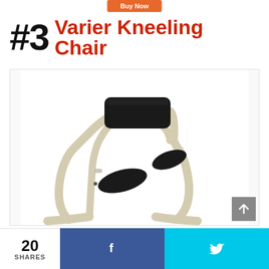[Figure (other): Orange 'Buy Now' button partially visible at top of page]
#3 Varier Kneeling Chair
[Figure (photo): Photo of a Varier kneeling chair with cream/beige bentwood rocking frame and black fabric seat and knee pads, on white background]
[Figure (other): Gray scroll-to-top button with upward arrow icon]
20 SHARES
[Figure (other): Facebook share button (dark blue with 'f' icon)]
[Figure (other): Twitter share button (cyan with bird icon)]